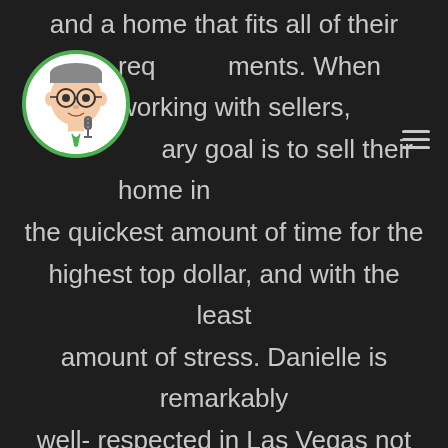[Figure (illustration): Circular avatar with green border containing a cartoon/caricature illustration of a man with glasses and a microphone]
and a home that fits all of their requirements. When working with sellers, my primary goal is to sell their home in the quickest amount of time for the highest top dollar, and with the least amount of stress. Danielle is remarkably well- respected in Las Vegas not only for her success but an agent who is family orientated and strives on providing the best service for her clients in what is often considered a challenging market. She is also dedicated to giving back to